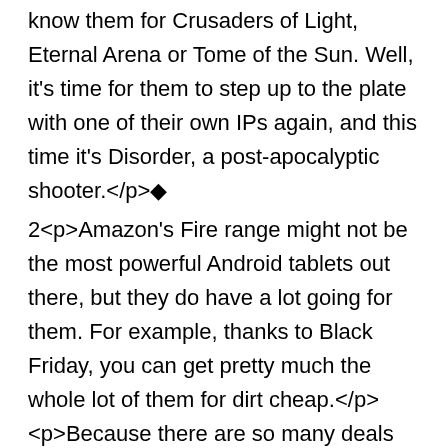know them for Crusaders of Light, Eternal Arena or Tome of the Sun. Well, it's time for them to step up to the plate with one of their own IPs again, and this time it's Disorder, a post-apocalyptic shooter.</p>◆
2️<p>Amazon's Fire range might not be the most powerful Android tablets out there, but they do have a lot going for them. For example, thanks to Black Friday, you can get pretty much the whole lot of them for dirt cheap.</p><p>Because there are so many deals involved, we thought it'd be easiest if we just listed them below with the links you're going to need to grab the various tablets. Make sure you keep checking our article about saving money on mobile and portable gaming over the next couple of days as well, so you don't miss out on any sweet deals.
</p>Amazon Fire 7 tablet 8GB - Was £49.99, now £29.99Amazon Fire 7 tablet 16GB - Was £59.99, now £39.99Amazon Fire 8 HD tablet 16GB - Was £79.99, now £49.99Amazon Fire 8 HD tablet 32GB - Was £99.99, now £79.99Amazon Fire 10 tablet 32GB -